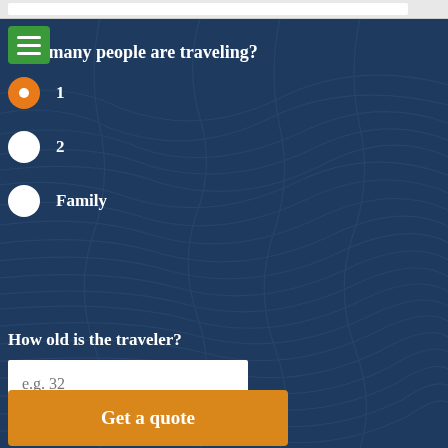How many people are traveling?
1
2
Family
How old is the traveler?
e.g. 32
Get a quote